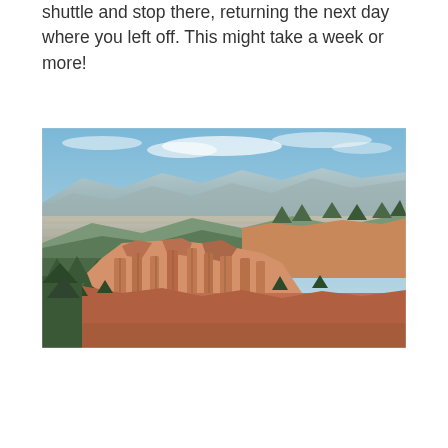shuttle and stop there, returning the next day where you left off. This might take a week or more!
[Figure (photo): Aerial landscape photograph of Bryce Canyon National Park showing orange-red hoodoo rock formations in the foreground, dense green pine trees on plateau tops, and an expansive arid valley with layered distant mountains and blue sky with light clouds in the background.]